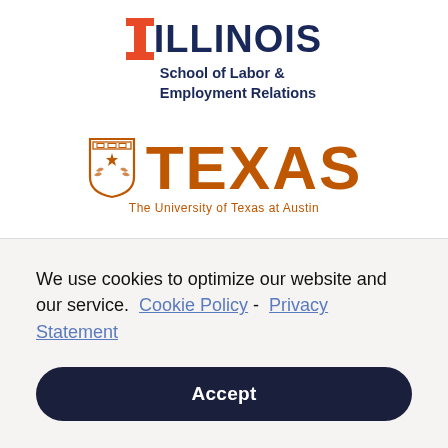[Figure (logo): University of Illinois School of Labor & Employment Relations logo — orange block I with navy ILLINOIS text and navy subtitle]
[Figure (logo): The University of Texas at Austin logo — burnt orange longhorn shield with TEXAS text and subtitle]
We use cookies to optimize our website and our service.  Cookie Policy - Privacy Statement
Accept